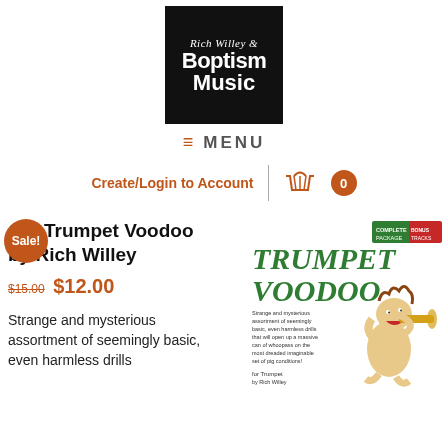[Figure (logo): Rich Willey & Boptism Music logo — white text on black square background]
≡ MENU
Create/Login to Account | 🛒 0
Trumpet Voodoo by Rich Willey
Sale!
$15.00 $12.00
Strange and mysterious assortment of seemingly basic, even harmless drills
[Figure (illustration): Trumpet Voodoo book cover illustration with cartoon figure playing trumpet]